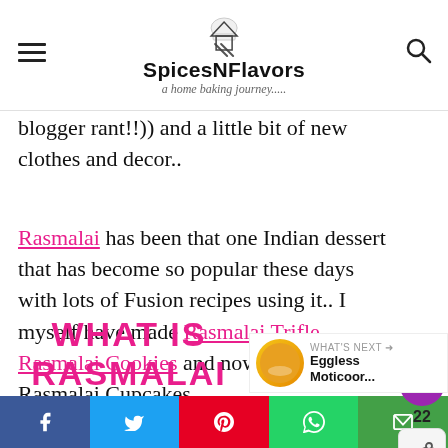SpicesNFlavors — a home baking journey.....
blogger rant!!)) and a little bit of new clothes and decor..
Rasmalai has been that one Indian dessert that has become so popular these days with lots of Fusion recipes using it.. I myself have made Rasmalai Trifle, Rasmalai Cookies and now these egg-free Rasmalai Cupcakes.
WHAT IS RASMALAI
f  t  p  [whatsapp]  [email]